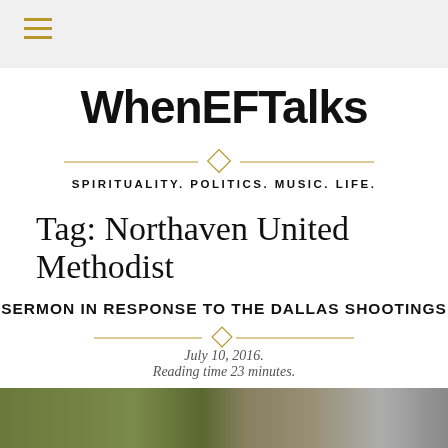≡ (navigation menu)
WhenEFTalks
SPIRITUALITY. POLITICS. MUSIC. LIFE.
Tag: Northaven United Methodist
SERMON IN RESPONSE TO THE DALLAS SHOOTINGS
July 10, 2016.
Reading time 23 minutes.
[Figure (photo): Outdoor photo showing trees and buildings, bottom strip of the page]